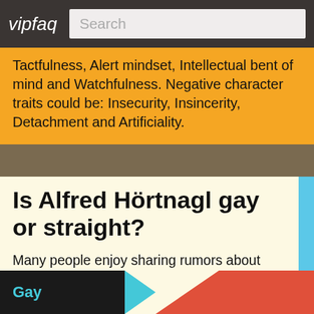vipfaq | Search
Tactfulness, Alert mindset, Intellectual bent of mind and Watchfulness. Negative character traits could be: Insecurity, Insincerity, Detachment and Artificiality.
Is Alfred Hörtnagl gay or straight?
Many people enjoy sharing rumors about the sexuality and sexual orientation of celebrities. We don't know for a fact whether Alfred Hörtnagl is gay, bisexual or straight. However, feel free to tell us what you think! Vote by clicking below.
Gay